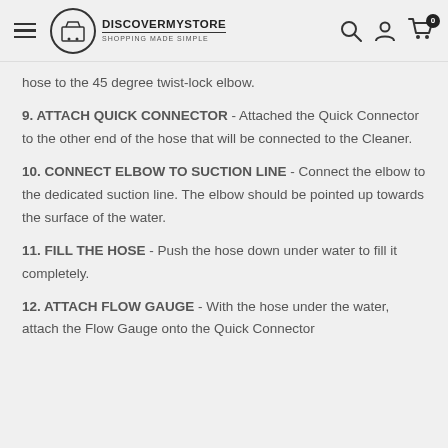DISCOVERMYSTORE — SHOPPING MADE SIMPLE
hose to the 45 degree twist-lock elbow.
9. ATTACH QUICK CONNECTOR - Attached the Quick Connector to the other end of the hose that will be connected to the Cleaner.
10. CONNECT ELBOW TO SUCTION LINE - Connect the elbow to the dedicated suction line. The elbow should be pointed up towards the surface of the water.
11. FILL THE HOSE - Push the hose down under water to fill it completely.
12. ATTACH FLOW GAUGE - With the hose under the water, attach the Flow Gauge onto the Quick Connector